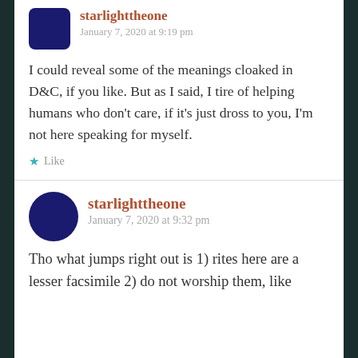starlighttheone
January 7, 2020 at 9:19 pm
I could reveal some of the meanings cloaked in D&C, if you like. But as I said, I tire of helping humans who don't care, if it's just dross to you, I'm not here speaking for myself.
Like
starlighttheone
January 7, 2020 at 9:32 pm
Tho what jumps right out is 1) rites here are a lesser facsimile 2) do not worship them, like